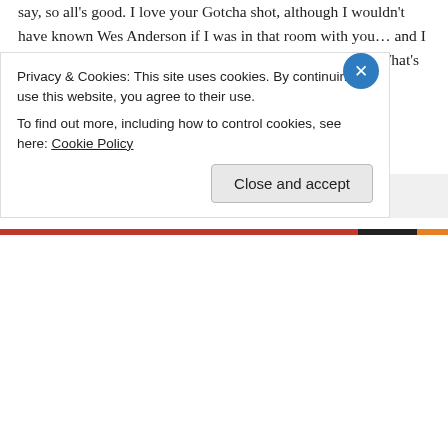say, so all's good. I love your Gotcha shot, although I wouldn't have known Wes Anderson if I was in that room with you… and I laughed when you realised you were in the wrong theatre! That's something I'd do!
★ Liked by 1 person
↪ Reply
lameadventures on October 12, 2015 at 9:05 pm
Privacy & Cookies: This site uses cookies. By continuing to use this website, you agree to their use.
To find out more, including how to control cookies, see here: Cookie Policy
Close and accept